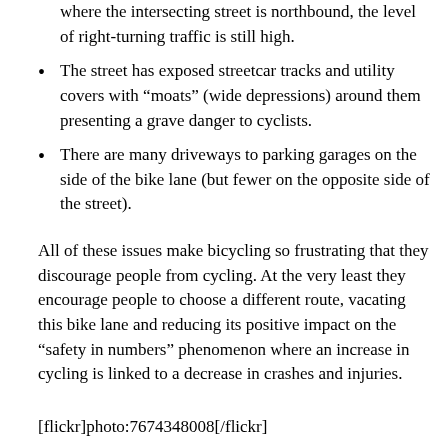where the intersecting street is northbound, the level of right-turning traffic is still high.
The street has exposed streetcar tracks and utility covers with “moats” (wide depressions) around them presenting a grave danger to cyclists.
There are many driveways to parking garages on the side of the bike lane (but fewer on the opposite side of the street).
All of these issues make bicycling so frustrating that they discourage people from cycling. At the very least they encourage people to choose a different route, vacating this bike lane and reducing its positive impact on the “safety in numbers” phenomenon where an increase in cycling is linked to a decrease in crashes and injuries.
[flickr]photo:7674348008[/flickr]